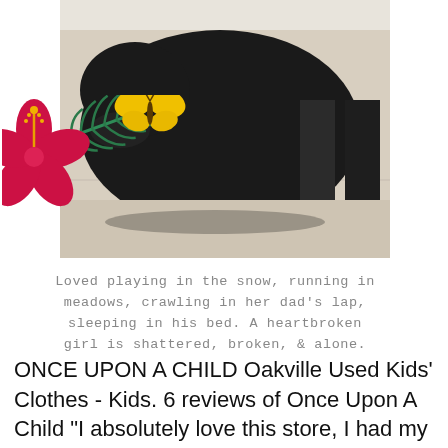[Figure (photo): A black dog sitting on a tiled floor next to a person's feet wearing dark shoes. The photo is overlaid with decorative clipart elements: a red hibiscus flower, a green palm leaf, and a yellow butterfly.]
Loved playing in the snow, running in meadows, crawling in her dad's lap, sleeping in his bed. A heartbroken girl is shattered, broken, & alone.
ONCE UPON A CHILD Oakville Used Kids' Clothes - Kids. 6 reviews of Once Upon A Child "I absolutely love this store, I had my baby 4 months ago and most of